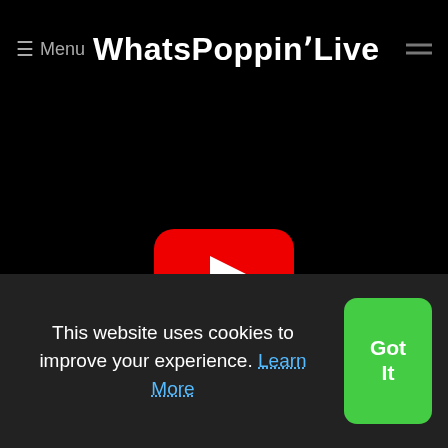≡ Menu WhatsPoppinLive
[Figure (screenshot): Black video player area with YouTube play button (red rounded rectangle with white triangle) centered]
Trapped in the volcano: How the cruise of a lifeti
[Figure (photo): Partial blue image visible at bottom of article card]
This website uses cookies to improve your experience. Learn More
Got It